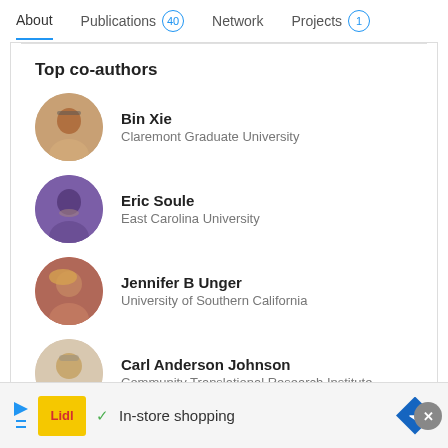About | Publications 40 | Network | Projects 1
Top co-authors
Bin Xie
Claremont Graduate University
Eric Soule
East Carolina University
Jennifer B Unger
University of Southern California
Carl Anderson Johnson
Community Translational Research Institute
Sherry L Emery
Advertisement
[Figure (other): Lidl in-store shopping advertisement banner at the bottom of the page]